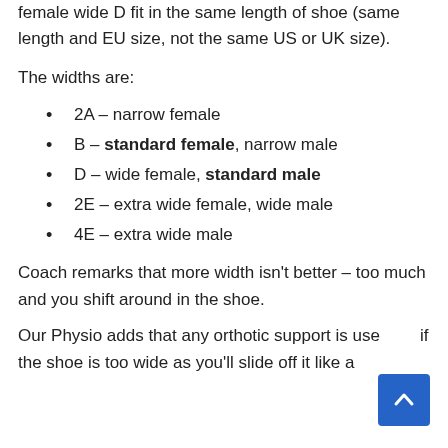female wide D fit in the same length of shoe (same length and EU size, not the same US or UK size).
The widths are:
2A – narrow female
B – standard female, narrow male
D – wide female, standard male
2E – extra wide female, wide male
4E – extra wide male
Coach remarks that more width isn't better – too much and you shift around in the shoe.
Our Physio adds that any orthotic support is used if the shoe is too wide as you'll slide off it like a